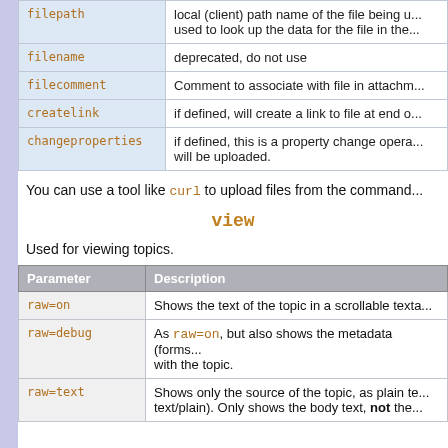| Parameter | Description |
| --- | --- |
| filepath | local (client) path name of the file being u... used to look up the data for the file in the... |
| filename | deprecated, do not use |
| filecomment | Comment to associate with file in attachm... |
| createlink | if defined, will create a link to file at end o... |
| changeproperties | if defined, this is a property change opera... will be uploaded. |
You can use a tool like curl to upload files from the command...
view
Used for viewing topics.
| Parameter | Description |
| --- | --- |
| raw=on | Shows the text of the topic in a scrollable texta... |
| raw=debug | As raw=on, but also shows the metadata (forms... with the topic. |
| raw=text | Shows only the source of the topic, as plain te... text/plain). Only shows the body text, not the... |